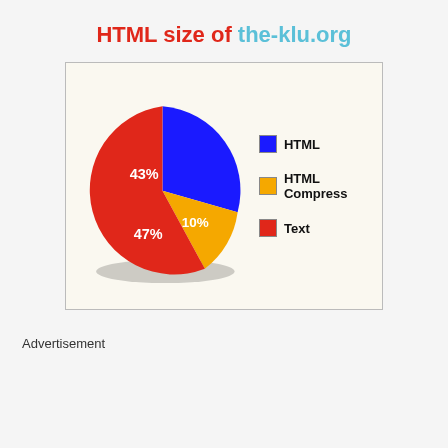HTML size of the-klu.org
[Figure (pie-chart): HTML size of the-klu.org]
Advertisement